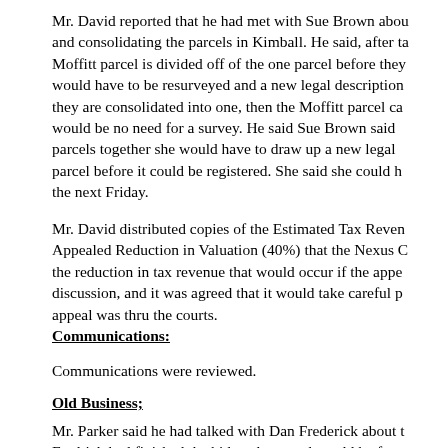Mr. David reported that he had met with Sue Brown about and consolidating the parcels in Kimball. He said, after ta Moffitt parcel is divided off of the one parcel before they would have to be resurveyed and a new legal description they are consolidated into one, then the Moffitt parcel ca would be no need for a survey. He said Sue Brown said parcels together she would have to draw up a new legal parcel before it could be registered. She said she could h the next Friday.
Mr. David distributed copies of the Estimated Tax Reven Appealed Reduction in Valuation (40%) that the Nexus C the reduction in tax revenue that would occur if the appe discussion, and it was agreed that it would take careful p appeal was thru the courts.
Communications:
Communications were reviewed.
Old Business;
Mr. Parker said he had talked with Dan Frederick about t Fredrick had finished the bid package and would be forw of a bid packet containing the bid specs and two announ